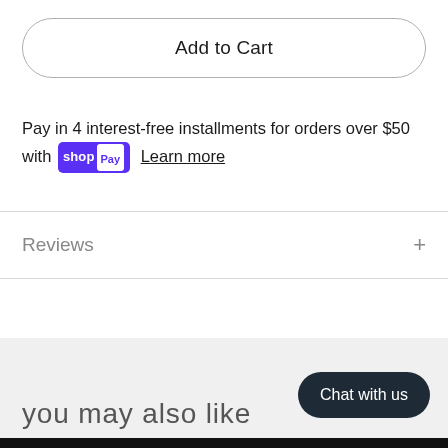Add to Cart
Pay in 4 interest-free installments for orders over $50 with shop Pay Learn more
Reviews
you may also like
Chat with us